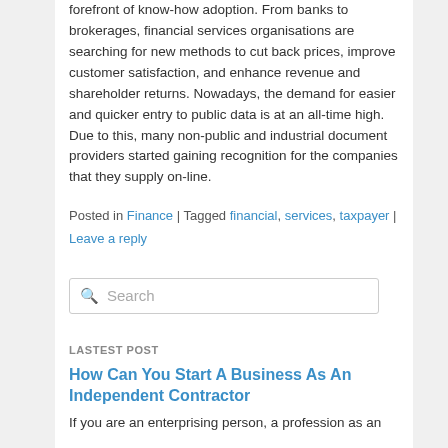forefront of know-how adoption. From banks to brokerages, financial services organisations are searching for new methods to cut back prices, improve customer satisfaction, and enhance revenue and shareholder returns. Nowadays, the demand for easier and quicker entry to public data is at an all-time high. Due to this, many non-public and industrial document providers started gaining recognition for the companies that they supply on-line.
Posted in Finance | Tagged financial, services, taxpayer | Leave a reply
Search
LASTEST POST
How Can You Start A Business As An Independent Contractor
If you are an enterprising person, a profession as an